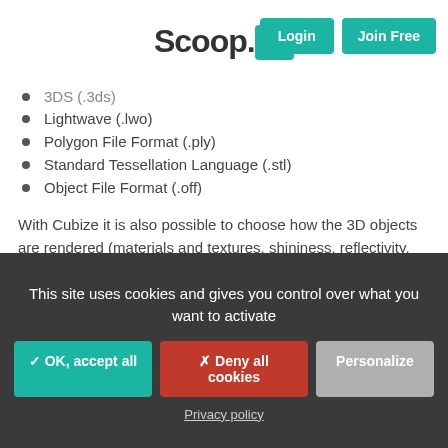Scoop.it! — Login | Join Free
3DS (.3ds) [partially visible]
Lightwave (.lwo)
Polygon File Format (.ply)
Standard Tessellation Language (.stl)
Object File Format (.off)
With Cubize it is also possible to choose how the 3D objects are rendered (materials and textures, shininess, reflectivity, bump maps and more) and displayed in terms of size and aspect ratio, whether they are floating or on the ground, its background and more.
3D objects rendered with Cubize can be annotated, commented, tagged and easily shared on all social media channels.
This site uses cookies and gives you control over what you want to activate
✓ OK, accept all   ✗ Deny all cookies   Personalize
Privacy policy